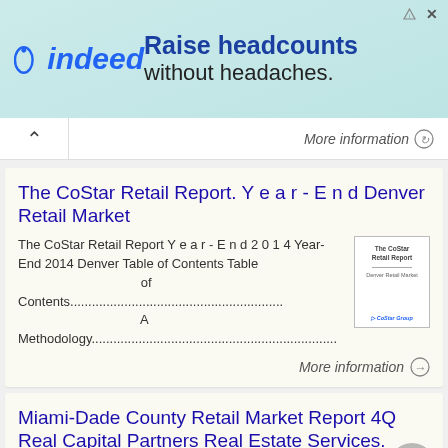[Figure (other): Indeed advertisement banner: 'Raise headcounts without headaches.']
More information
The CoStar Retail Report. Y e a r - E n d Denver Retail Market
The CoStar Retail Report Y e a r - E n d 2 0 1 4 Year-End 2014 Denver Table of Contents Table of Contents............................................................. A Methodology....................................................................
More information
Miami-Dade County Retail Market Report 4Q Real Capital Partners Real Estate Services. *Data Source CoStar Miami-Dade